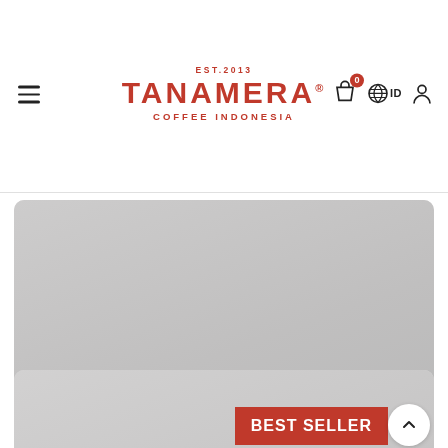TANAMERA COFFEE INDONESIA EST.2013
[Figure (screenshot): Product listing card showing 'Bali Kintamani Washed Filter' coffee with gray image placeholder, cart and wishlist icons, and price label]
Bali Kintamani Washed Filter
FROM IDR 81 K
[Figure (screenshot): Partial product card with BEST SELLER badge in red and scroll-up arrow button]